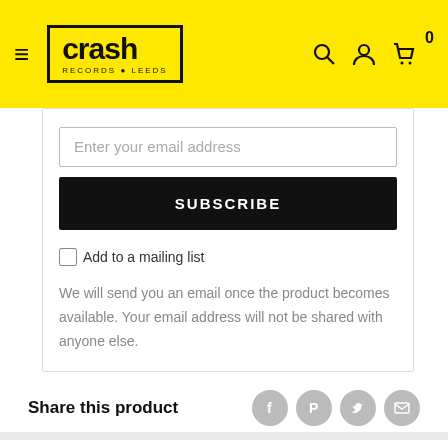Crash Records Leeds — navigation header with hamburger menu, logo, search, account, and cart icons
Enter your email address
SUBSCRIBE
Add to a mailing list
We will send you an email once the product becomes available. Your email address will not be shared with anyone else.
Share this product
Description